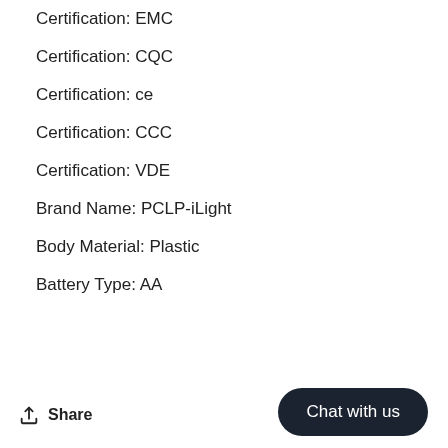Certification: EMC
Certification: CQC
Certification: ce
Certification: CCC
Certification: VDE
Brand Name: PCLP-iLight
Body Material: Plastic
Battery Type: AA
Share
Chat with us